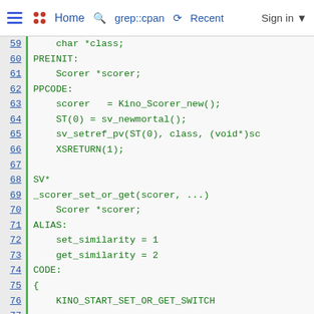Home  grep::cpan  Recent  Sign in
[Figure (screenshot): Code viewer showing Perl XS source lines 59-85 with line numbers on the left, green vertical bar separator, and code in green monospace font on light background. Code includes PREINIT, PPCODE, ALIAS, CODE blocks with C/XS syntax.]